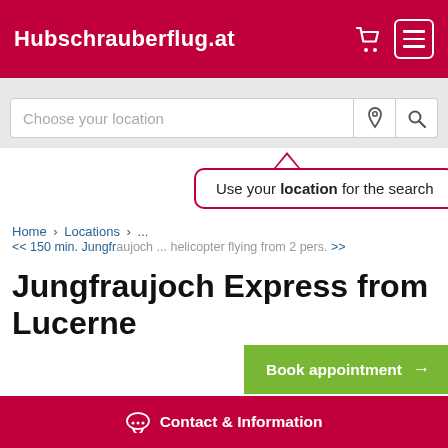Hubschrauberflug.at
[Figure (screenshot): Search bar with placeholder 'Choose your location' and location pin icon and search icon]
[Figure (infographic): Tooltip popup: 'Use your location for the search']
Home > Locations > ... << 150 min. Jungfraujoch ... helicopter flying from 2 pers. >>
Jungfraujoch Express from Lucerne
[Figure (screenshot): Green 'Book appointment' button with arrow at bottom right]
Contact & Information